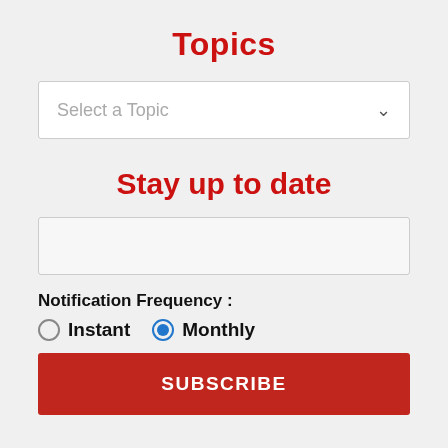Topics
[Figure (screenshot): Dropdown selector with placeholder text 'Select a Topic' and a chevron arrow on the right]
Stay up to date
[Figure (screenshot): Empty text input field for email or subscription entry]
Notification Frequency :
Instant   Monthly (Monthly selected)
SUBSCRIBE